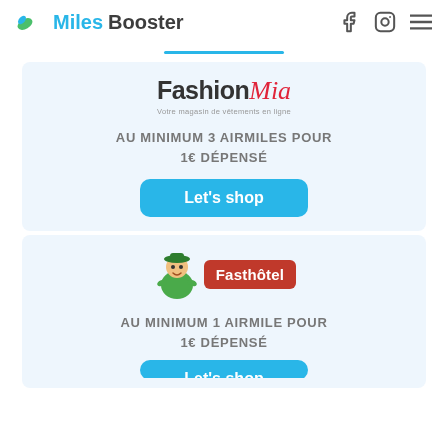MilesBooster
[Figure (logo): FashionMia logo with tagline 'Votre magasin de vêtements en ligne']
AU MINIMUM 3 AIRMILES POUR 1€ DÉPENSÉ
Let's shop
[Figure (logo): Fasthôtel logo with green mascot character and red badge]
AU MINIMUM 1 AIRMILE POUR 1€ DÉPENSÉ